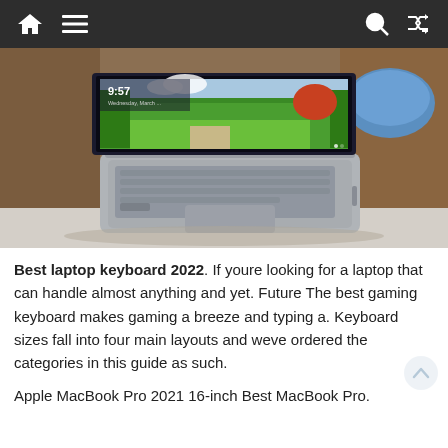Navigation bar with home, menu, search, and shuffle icons
[Figure (photo): A silver laptop (appears to be a Lenovo ThinkBook or similar) open on a white marble table, displaying a vibrant garden wallpaper with the time 9:57 on screen. The scene is shot in a warm café or lounge environment.]
Best laptop keyboard 2022. If youre looking for a laptop that can handle almost anything and yet. Future The best gaming keyboard makes gaming a breeze and typing a. Keyboard sizes fall into four main layouts and weve ordered the categories in this guide as such.
Apple MacBook Pro 2021 16-inch Best MacBook Pro.